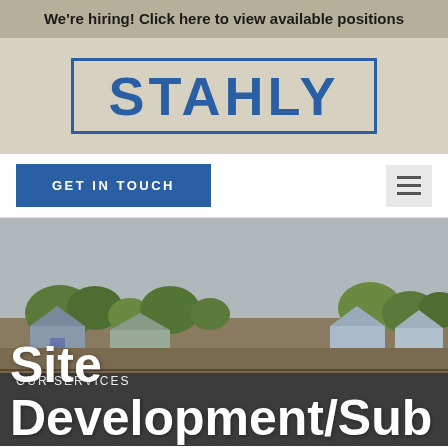We're hiring! Click here to view available positions
[Figure (logo): Stahly company logo — bold blue text STAHLY inside a blue rectangular border, on a tan/beige background]
GET IN TOUCH
[Figure (photo): Construction scene showing a road roller/compactor being operated by a worker on a freshly paved asphalt road, with residential houses and trees in the background under an overcast sky]
OUR SERVICES
Site Development/Sub